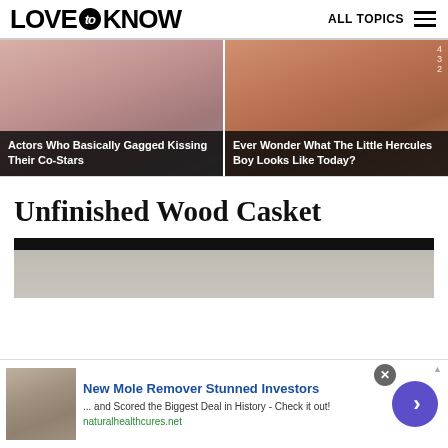LOVE to KNOW   ALL TOPICS
[Figure (photo): Two promo cards side by side: left card shows a person, captioned 'Actors Who Basically Gagged Kissing Their Co-Stars'; right card shows a muscular figure, captioned 'Ever Wonder What The Little Hercules Boy Looks Like Today?']
Actors Who Basically Gagged Kissing Their Co-Stars
Ever Wonder What The Little Hercules Boy Looks Like Today?
Unfinished Wood Casket
[Figure (photo): Partial photo of a wood casket surface with dark header bar at top]
[Figure (infographic): Advertisement banner: 'New Mole Remover Stunned Investors ... and Scored the Biggest Deal in History - Check it out! naturalhealthcures.net' with photo of skin moles on left and purple arrow button on right]